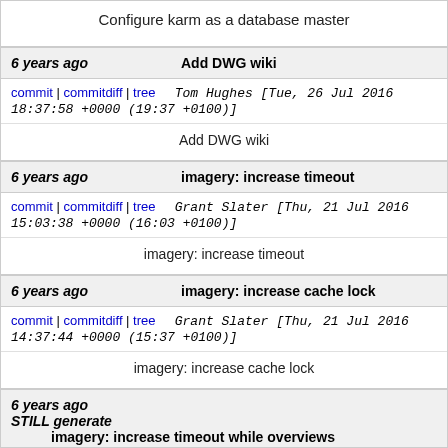Configure karm as a database master
6 years ago   Add DWG wiki
commit | commitdiff | tree   Tom Hughes [Tue, 26 Jul 2016 18:37:58 +0000 (19:37 +0100)]
Add DWG wiki
6 years ago   imagery: increase timeout
commit | commitdiff | tree   Grant Slater [Thu, 21 Jul 2016 15:03:38 +0000 (16:03 +0100)]
imagery: increase timeout
6 years ago   imagery: increase cache lock
commit | commitdiff | tree   Grant Slater [Thu, 21 Jul 2016 14:37:44 +0000 (15:37 +0100)]
imagery: increase cache lock
6 years ago   imagery: increase timeout while overviews STILL generate
commit | commitdiff | tree   Grant Slater [Thu, 21 Jul 2016